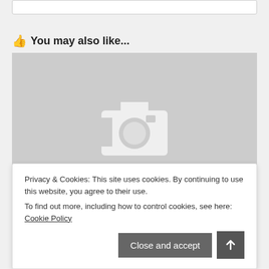👍 You may also like...
[Figure (photo): Image placeholder with camera icon on gray background]
Southwest Salmon     I Guess     Or Sumnin
Privacy & Cookies: This site uses cookies. By continuing to use this website, you agree to their use.
To find out more, including how to control cookies, see here: Cookie Policy
Close and accept